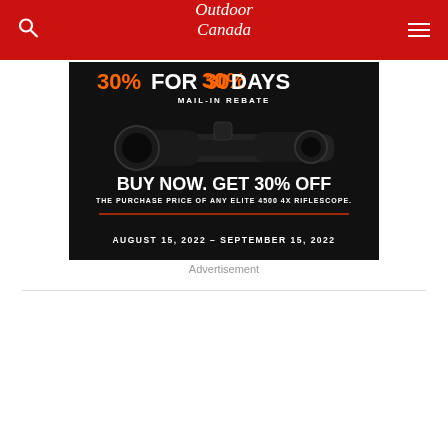Outdoor Canada
[Figure (photo): Advertisement for Bushnell Elite 4500 4x riflescope showing 30% mail-in rebate offer. Text reads: 30% FOR 30 DAYS MAIL-IN REBATE. BUY NOW. GET 30% OFF THE PURCHASE PRICE OF ANY ELITE 4500 4X RIFLESCOPE. AUGUST 15, 2022 – SEPTEMBER 15, 2022. Black background with image of a rifle scope.]
Advertisement